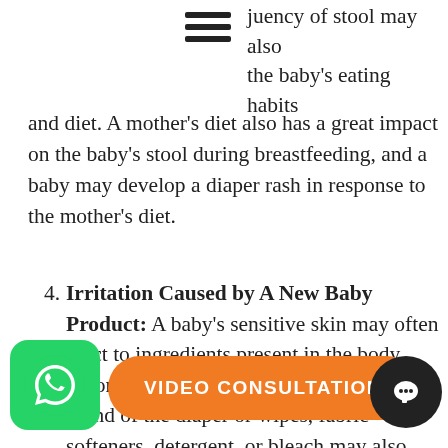juency of stool may also the baby's eating habits and diet. A mother's diet also has a great impact on the baby's stool during breastfeeding, and a baby may develop a diaper rash in response to the mother's diet.
4. Irritation Caused by A New Baby Product: A baby's sensitive skin may often react to ingredients present in the body lotions, oil, or powders. A change in the brand of the diaper or wipes, fabric softeners, detergent, or bleach may also result in the same.
5. Bacterial or Fungal Infection: The diaper region including buttocks, thighs, and genitals makes a perfect breeding ground for bacteria, yeast, and fungus to grow and thrive as it is the warmest and moistest area. Rashes may develop within the diaper skin and may